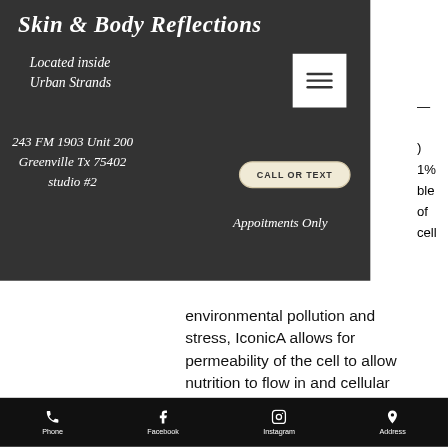[Figure (screenshot): Dark header banner for 'Skin & Body Reflections' beauty business with script font title, address, call or text button, menu hamburger icon, and 'Appoitments Only' text on dark grey background.]
environmental pollution and stress, IconicA allows for permeability of the cell to allow nutrition to flow in and cellular waste to
Phone   Facebook   Instagram   Address